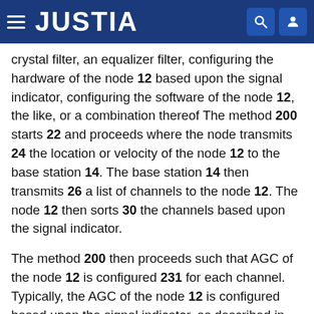JUSTIA
crystal filter, an equalizer filter, configuring the hardware of the node 12 based upon the signal indicator, configuring the software of the node 12, the like, or a combination thereof The method 200 starts 22 and proceeds where the node transmits 24 the location or velocity of the node 12 to the base station 14. The base station 14 then transmits 26 a list of channels to the node 12. The node 12 then sorts 30 the channels based upon the signal indicator.
The method 200 then proceeds such that AGC of the node 12 is configured 231 for each channel. Typically, the AGC of the node 12 is configured based upon the signal indicator, as described in greater detail below. The node 12 senses each channel at step 34, after the AGC has been configured 231 for the channel that is being sensed. Next, the node 12 transmits 36 soft